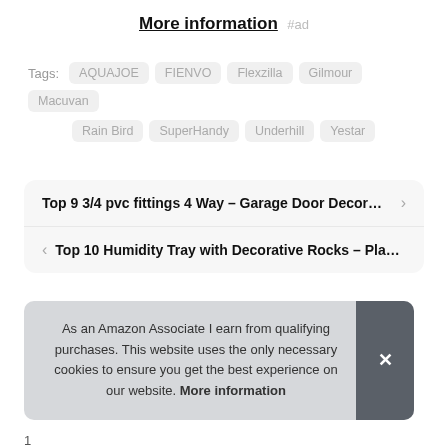More information #ad
Tags: AQUAJOE FIENVO Flexzilla Gilmour Macuvan Rain Bird SuperHandy Underhill Yestar
Top 9 3/4 pvc fittings 4 Way – Garage Door Decor…
Top 10 Humidity Tray with Decorative Rocks – Pla…
As an Amazon Associate I earn from qualifying purchases. This website uses the only necessary cookies to ensure you get the best experience on our website. More information